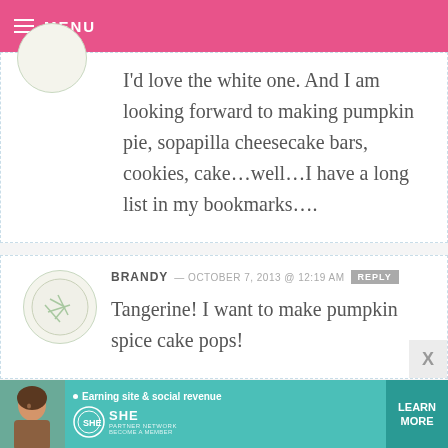☰ MENU
I'd love the white one. And I am looking forward to making pumpkin pie, sopapilla cheesecake bars, cookies, cake...well...I have a long list in my bookmarks....
BRANDY — OCTOBER 7, 2013 @ 12:19 AM   REPLY
Tangerine! I want to make pumpkin spice cake pops!
[Figure (infographic): SHE Partner Network advertisement banner with woman photo, teal background, 'Earning site & social revenue' text, SHE logo, and LEARN MORE button]